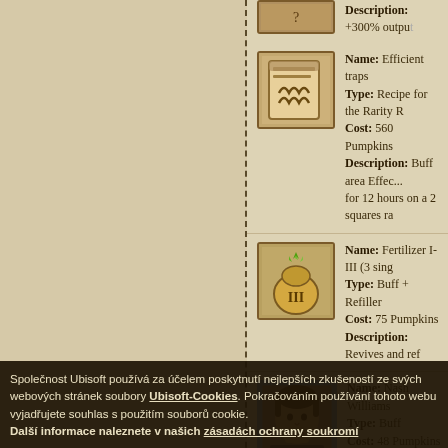Description: +300% output...
Name: Efficient traps
Type: Recipe for the Rarity R...
Cost: 560 Pumpkins
Description: Buff area Effec... for 12 hours on a 2 squares ra...
Name: Fertilizer I-III (3 sing...
Type: Buff + Refiller
Cost: 75 Pumpkins
Description: Revives and ref...
Name: Nash Williams
Type: Buff
Cost: 48 Pumpkins
Effect: Use on Barracks and...
Name: Grout (200)
Type: Resource
Cost: 170 Pumpkins
Společnost Ubisoft používá za účelem poskytnutí nejlepších zkušeností ze svých webových stránek soubory Ubisoft-Cookies. Pokračováním používání tohoto webu vyjadřujete souhlas s použitím souborů cookie. Další informace naleznete v našich zásadách ochrany soukromí.